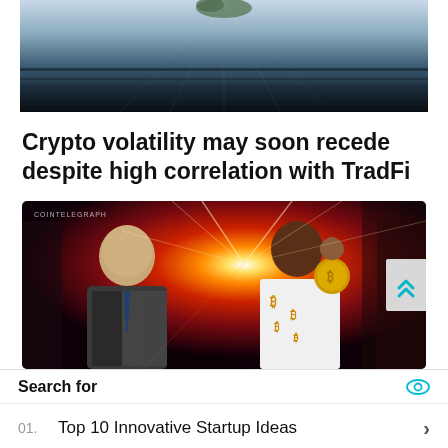[Figure (photo): Aerial or abstract dark image with light reflections, road or runway surface seen from above with faint tree or island silhouette at top]
Crypto volatility may soon recede despite high correlation with TradFi
[Figure (illustration): Cointelegraph illustrated image: two cartoon figures, a bald man in suit on the left and a dark-skinned man on the right holding a gold Bitcoin coin and a small monkey on his shoulder, against a dramatic red starburst background]
Search for
01. Top 10 Innovative Startup Ideas
02. Low-Investment Business Ideas
Yahoo! Search | Sponsored